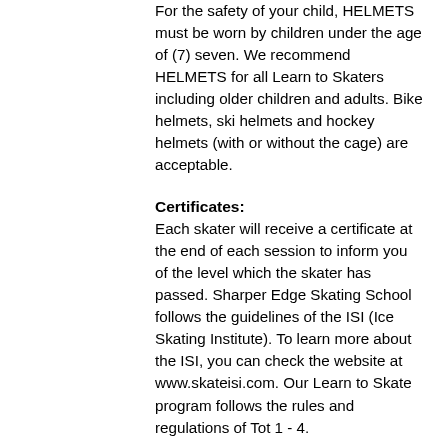For the safety of your child, HELMETS must be worn by children under the age of (7) seven. We recommend HELMETS for all Learn to Skaters including older children and adults. Bike helmets, ski helmets and hockey helmets (with or without the cage) are acceptable.
Certificates:
Each skater will receive a certificate at the end of each session to inform you of the level which the skater has passed. Sharper Edge Skating School follows the guidelines of the ISI (Ice Skating Institute). To learn more about the ISI, you can check the website at www.skateisi.com. Our Learn to Skate program follows the rules and regulations of Tot 1 - 4.
Make-Ups:
One make-up class is allowed per session. This must be completed during the current session. No make-ups are allowed during the first 2 weeks of the session. Please contact the office to arrange a make-up time. There are no walk-on make-ups allowed. Penguin Program skaters will only be allowed to make up a class during other Penguin Program class times.